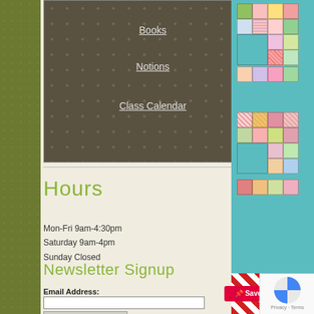Books
Notions
Class Calendar
Hours
Mon-Fri 9am-4:30pm
Saturday 9am-4pm
Sunday Closed
Newsletter Signup
Email Address:
[Figure (photo): Colorful patchwork quilt with alphabet letter blocks on teal background, displayed on a wall. Red and white gingham fabric strips at bottom.]